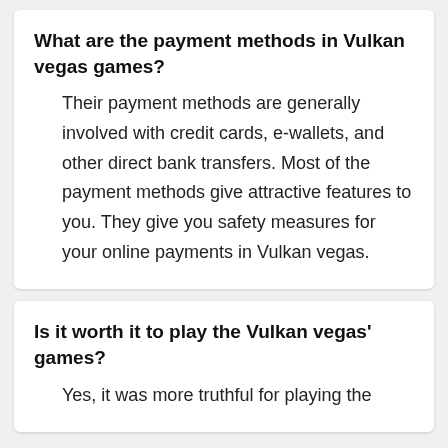What are the payment methods in Vulkan vegas games?
Their payment methods are generally involved with credit cards, e-wallets, and other direct bank transfers. Most of the payment methods give attractive features to you. They give you safety measures for your online payments in Vulkan vegas.
Is it worth it to play the Vulkan vegas' games?
Yes, it was more truthful for playing the